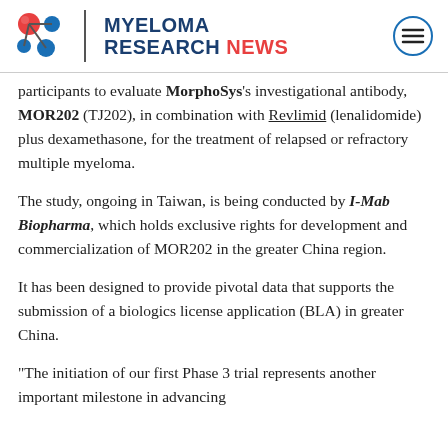MYELOMA RESEARCH NEWS
participants to evaluate MorphoSys's investigational antibody, MOR202 (TJ202), in combination with Revlimid (lenalidomide) plus dexamethasone, for the treatment of relapsed or refractory multiple myeloma.
The study, ongoing in Taiwan, is being conducted by I-Mab Biopharma, which holds exclusive rights for development and commercialization of MOR202 in the greater China region.
It has been designed to provide pivotal data that supports the submission of a biologics license application (BLA) in greater China.
“The initiation of our first Phase 3 trial represents another important milestone in advancing